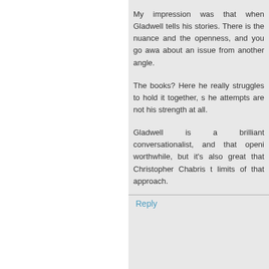My impression was that when Gladwell tells his stories. There is the nuance and the openness, and you go away about an issue from another angle.
The books? Here he really struggles to hold it together, s he attempts are not his strength at all.
Gladwell is a brilliant conversationalist, and that openi worthwhile, but it's also great that Christopher Chabris t limits of that approach.
Reply
Anonymous October 7, 2013 at 12:32 PM
Imagine, if you will, a textbook written by Gladwell. How would it textbook? Agreeing that the facts were the same, would that chan
Reply
Matthew October 7, 2013 at 1:27 PM
Well, I wrote a letter to the editor to the New Yorker (which t mentioning that Malcolm Gladwell tends to contradict himself. H